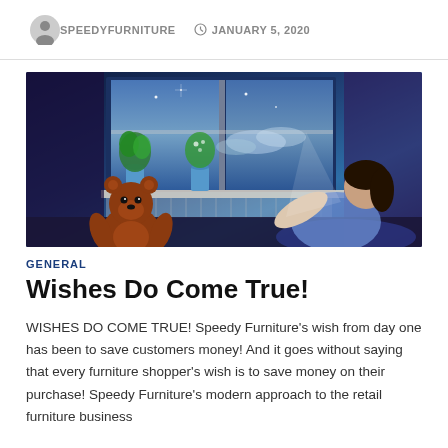SPEEDYFURNITURE   JANUARY 5, 2020
[Figure (photo): A young girl sitting on a bed in a dimly lit room with blue lighting, looking out a window at night. A brown teddy bear sits beside her. Potted plants are on the windowsill.]
GENERAL
Wishes Do Come True!
WISHES DO COME TRUE! Speedy Furniture's wish from day one has been to save customers money! And it goes without saying that every furniture shopper's wish is to save money on their purchase! Speedy Furniture's modern approach to the retail furniture business